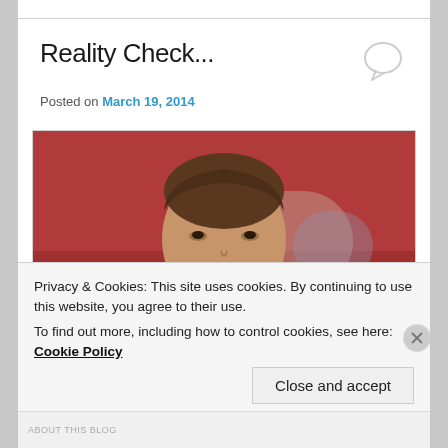Reality Check...
Posted on March 19, 2014
[Figure (photo): A young male soccer player in a black and blue striped jersey, close-up portrait shot with a blurred red stadium background]
Privacy & Cookies: This site uses cookies. By continuing to use this website, you agree to their use.
To find out more, including how to control cookies, see here: Cookie Policy
Close and accept